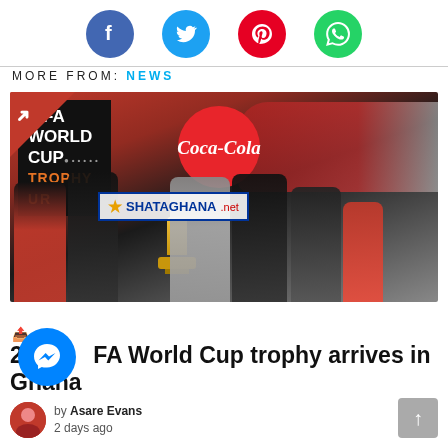[Figure (other): Social share icons row: Facebook (blue), Twitter (light blue), Pinterest (red), WhatsApp (green) — circular icon buttons]
MORE FROM: NEWS
[Figure (photo): Photo of the FIFA World Cup Trophy Tour event at an airport in Ghana. Several people in formal and red attire stand around the trophy. A large black banner reads 'FIFA WORLD CUP TROPHY TOUR'. A red Coca-Cola circle logo is visible. A watermark reads 'SHATAGHANA.net'. A red aircraft is in the background.]
2018 FIFA World Cup trophy arrives in Ghana
by Asare Evans
2 days ago